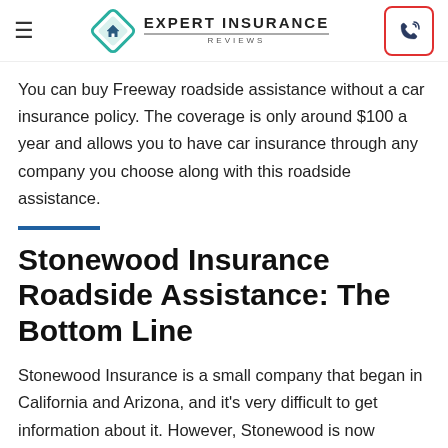Expert Insurance Reviews
You can buy Freeway roadside assistance without a car insurance policy. The coverage is only around $100 a year and allows you to have car insurance through any company you choose along with this roadside assistance.
Stonewood Insurance Roadside Assistance: The Bottom Line
Stonewood Insurance is a small company that began in California and Arizona, and it's very difficult to get information about it. However, Stonewood is now